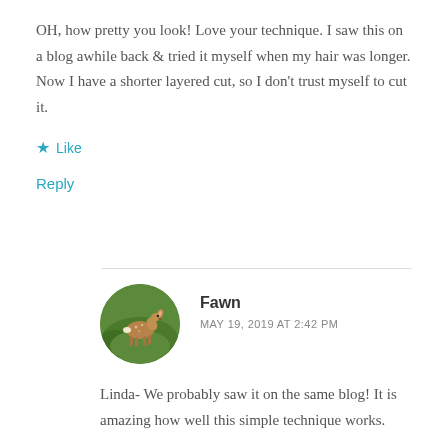OH, how pretty you look! Love your technique. I saw this on a blog awhile back & tried it myself when my hair was longer. Now I have a shorter layered cut, so I don't trust myself to cut it.
★ Like
Reply
Fawn
MAY 19, 2019 AT 2:42 PM
Linda- We probably saw it on the same blog! It is amazing how well this simple technique works.